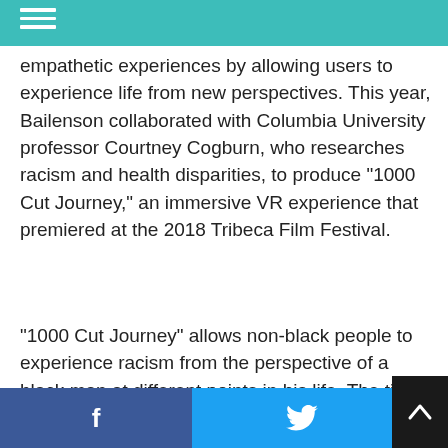Bailenson is also using VR as a tool to create empathetic experiences by allowing users to experience life from new perspectives. This year, Bailenson collaborated with Columbia University professor Courtney Cogburn, who researches racism and health disparities, to produce “1000 Cut Journey,” an immersive VR experience that premiered at the 2018 Tribeca Film Festival.
“1000 Cut Journey” allows non-black people to experience racism from the perspective of a black man at different points in his life. The title refers to small instances of racism that people of color experience, often referred to as micro-aggressions.
In the first scene of the experience, the user is put… old black boy, who is playi…
f  t